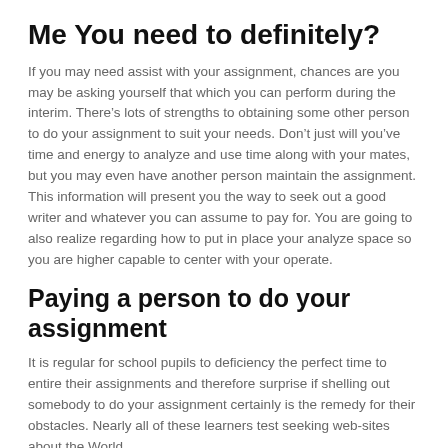Me You need to definitely?
If you may need assist with your assignment, chances are you may be asking yourself that which you can perform during the interim. There’s lots of strengths to obtaining some other person to do your assignment to suit your needs. Don’t just will you’ve time and energy to analyze and use time along with your mates, but you may even have another person maintain the assignment. This information will present you the way to seek out a good writer and whatever you can assume to pay for. You are going to also realize regarding how to put in place your analyze space so you are higher capable to center with your operate.
Paying a person to do your assignment
It is regular for school pupils to deficiency the perfect time to entire their assignments and therefore surprise if shelling out somebody to do your assignment certainly is the remedy for their obstacles. Nearly all of these learners test seeking web-sites about the World